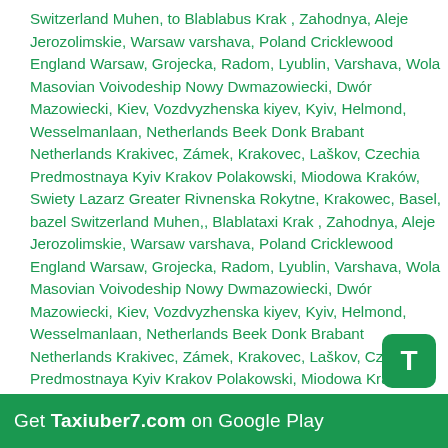Switzerland Muhen, to Blablabus Krak , Zahodnya, Aleje Jerozolimskie, Warsaw varshava, Poland Cricklewood England Warsaw, Grojecka, Radom, Lyublin, Varshava, Wola Masovian Voivodeship Nowy Dwmazowiecki, Dwór Mazowiecki, Kiev, Vozdvyzhenska kiyev, Kyiv, Helmond, Wesselmanlaan, Netherlands Beek Donk Brabant Netherlands Krakivec, Zámek, Krakovec, Laškov, Czechia Predmostnaya Kyiv Krakov Polakowski, Miodowa Kraków, Swiety Lazarz Greater Rivnenska Rokytne, Krakowec, Basel, bazel Switzerland Muhen,, Blablataxi Krak , Zahodnya, Aleje Jerozolimskie, Warsaw varshava, Poland Cricklewood England Warsaw, Grojecka, Radom, Lyublin, Varshava, Wola Masovian Voivodeship Nowy Dwmazowiecki, Dwór Mazowiecki, Kiev, Vozdvyzhenska kiyev, Kyiv, Helmond, Wesselmanlaan, Netherlands Beek Donk Brabant Netherlands Krakivec, Zámek, Krakovec, Laškov, Czechia Predmostnaya Kyiv Krakov Polakowski, Miodowa Kraków, Swiety Lazarz Greater Rivnenska Rokytne, Krakowec, Basel, bazel Switzerland Muhen,, Bla bla taxi Krak , Zahodnya, Aleje Jerozolimskie, Warsaw varshava, Poland Cricklewood England Warsaw, Grojecka, Radom, Lyublin, Varshava, Wola Masovian Voivodeship Nowy Dwmazowiecki, Dwór Mazowiecki, Kiev, Vozdvyzhenska kiyev, Kyiv, Helmond, Wesselmanlaan, Netherlands Beek Donk Brabant Netherlands Krakivec, Zámek, Krakovec, Laškov, Czechia Predmostnaya Kyiv Krakov Polakowski, Swiety Lazarz Greater Rivnenska Rokytne, Krakowec, Basel, bazel Switzerland Muhen,,
[Figure (logo): Green rounded square icon with white letter T (Taxiuber7 app icon)]
Get Taxiuber7.com on Google Play